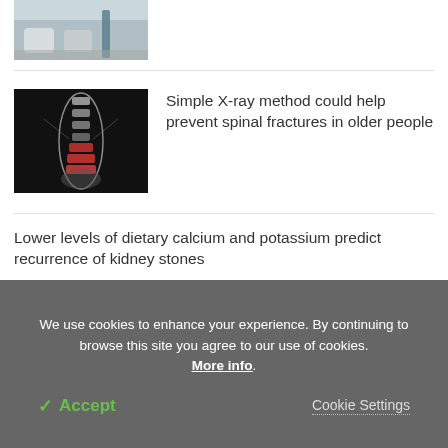[Figure (photo): Partial view of people's feet/legs, one person using a cane on pavement]
[Figure (photo): X-ray image of human spine with red highlighted lower lumbar area]
Simple X-ray method could help prevent spinal fractures in older people
Lower levels of dietary calcium and potassium predict recurrence of kidney stones
We use cookies to enhance your experience. By continuing to browse this site you agree to our use of cookies. More info.
✓ Accept
Cookie Settings